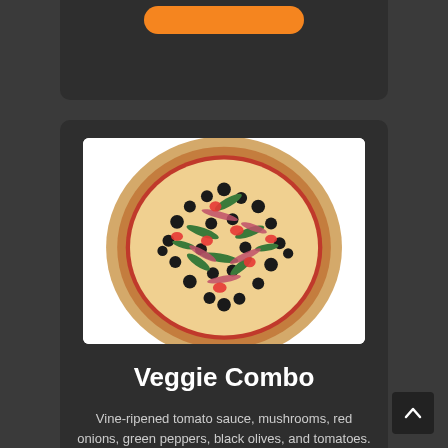[Figure (photo): A veggie combo pizza with vine-ripened tomato sauce, mushrooms, red onions, green peppers, black olives, and tomatoes on a white background.]
Veggie Combo
Vine-ripened tomato sauce, mushrooms, red onions, green peppers, black olives, and tomatoes.